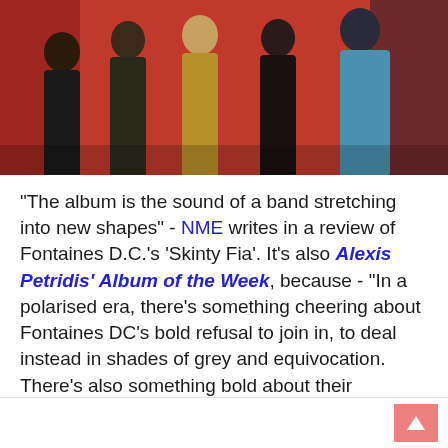[Figure (photo): Band photo of Fontaines D.C. — five members standing against a red background]
"The album is the sound of a band stretching into new shapes" - NME writes in a review of Fontaines D.C.'s 'Skinty Fia'. It's also Alexis Petridis' Album of the Week, because - "In a polarised era, there's something cheering about Fontaines DC's bold refusal to join in, to deal instead in shades of grey and equivocation. There's also something bold about their disinclination to rely on the most immediate aspect of their sound". Pitchfork tries to go to the bottom of it: "The Irish post-punk band's most demanding and musically adventurous album is also its most open-hearted,  striking a perfect balance between tough and tender".